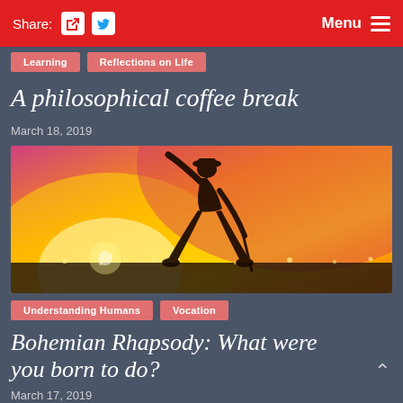Share: [facebook] [twitter]   Menu ≡
Learning | Reflections on Life
A philosophical coffee break
March 18, 2019
[Figure (photo): Silhouette of a performer on stage against a dramatic orange and pink sunset sky, holding a microphone stand and leaning forward dynamically, with stadium lights and crowd visible in background]
Understanding Humans | Vocation
Bohemian Rhapsody: What were you born to do?
March 17, 2019